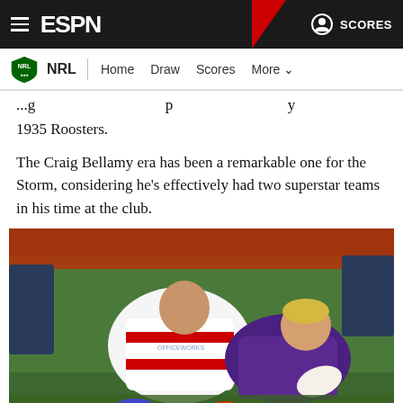ESPN | NRL | Home | Draw | Scores | More
...g... p... y 1935 Roosters.
The Craig Bellamy era has been a remarkable one for the Storm, considering he's effectively had two superstar teams in his time at the club.
[Figure (photo): NRL rugby league players tackling, one player in red-and-white St George Illawarra Dragons kit tackling a Melbourne Storm player in purple kit who is carrying the ball, on a grass field.]